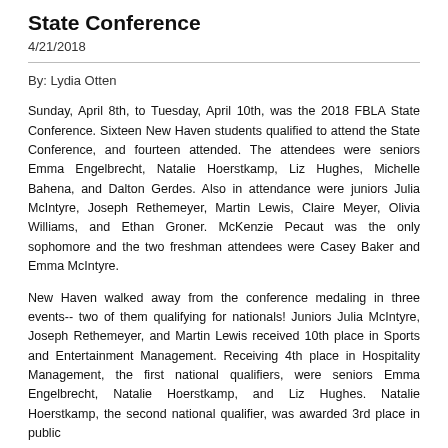State Conference
4/21/2018
By: Lydia Otten
Sunday, April 8th, to Tuesday, April 10th, was the 2018 FBLA State Conference. Sixteen New Haven students qualified to attend the State Conference, and fourteen attended. The attendees were seniors Emma Engelbrecht, Natalie Hoerstkamp, Liz Hughes, Michelle Bahena, and Dalton Gerdes. Also in attendance were juniors Julia McIntyre, Joseph Rethemeyer, Martin Lewis, Claire Meyer, Olivia Williams, and Ethan Groner. McKenzie Pecaut was the only sophomore and the two freshman attendees were Casey Baker and Emma McIntyre.
New Haven walked away from the conference medaling in three events-- two of them qualifying for nationals! Juniors Julia McIntyre, Joseph Rethemeyer, and Martin Lewis received 10th place in Sports and Entertainment Management. Receiving 4th place in Hospitality Management, the first national qualifiers, were seniors Emma Engelbrecht, Natalie Hoerstkamp, and Liz Hughes. Natalie Hoerstkamp, the second national qualifier, was awarded 3rd place in public